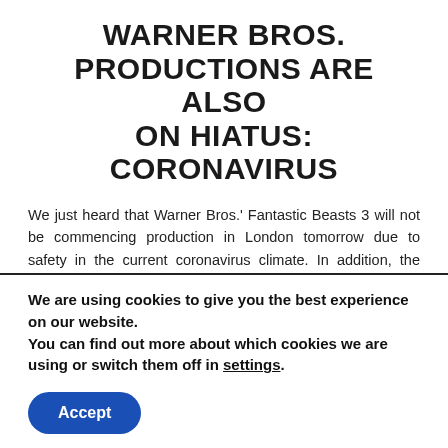WARNER BROS. PRODUCTIONS ARE ALSO ON HIATUS: CORONAVIRUS
We just heard that Warner Bros.' Fantastic Beasts 3 will not be commencing production in London tomorrow due to safety in the current coronavirus climate. In addition, the studio's Will Smith tennis drama King Richard, which was filming in Los Angeles, is also temporarily stopping.
It has yet to be determined when both shoots will resume.
King Richard, directed by Reinaldo Marcus Green, follows how tennis superstars Venus (Saniyya Sidney) and Serena Williams (Demi Singleton) became who they are after the coaching from their father Richard Williams (Smith). Jon Bernthal, Liev Schreiber and Dylan
We are using cookies to give you the best experience on our website.
You can find out more about which cookies we are using or switch them off in settings.